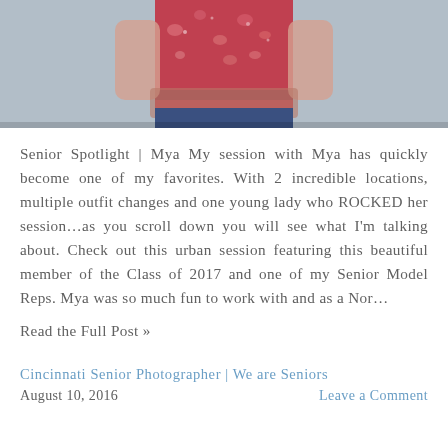[Figure (photo): Partial photo of a young woman wearing a red/pink floral top, cropped to show torso only against a grey background]
Senior Spotlight | Mya My session with Mya has quickly become one of my favorites. With 2 incredible locations, multiple outfit changes and one young lady who ROCKED her session…as you scroll down you will see what I'm talking about. Check out this urban session featuring this beautiful member of the Class of 2017 and one of my Senior Model Reps. Mya was so much fun to work with and as a Nor…
Read the Full Post »
Cincinnati Senior Photographer | We are Seniors
August 10, 2016
Leave a Comment